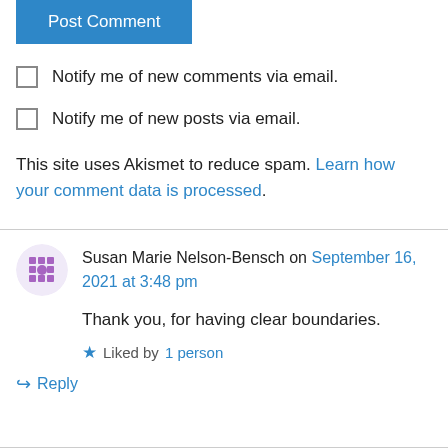[Figure (other): Blue 'Post Comment' button]
Notify me of new comments via email.
Notify me of new posts via email.
This site uses Akismet to reduce spam. Learn how your comment data is processed.
Susan Marie Nelson-Bensch on September 16, 2021 at 3:48 pm
Thank you, for having clear boundaries.
Liked by 1 person
Reply